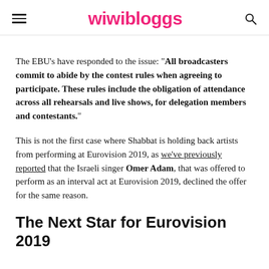wiwibloggs
The EBU's have responded to the issue: “All broadcasters commit to abide by the contest rules when agreeing to participate. These rules include the obligation of attendance across all rehearsals and live shows, for delegation members and contestants.”
This is not the first case where Shabbat is holding back artists from performing at Eurovision 2019, as we’ve previously reported that the Israeli singer Omer Adam, that was offered to perform as an interval act at Eurovision 2019, declined the offer for the same reason.
The Next Star for Eurovision 2019